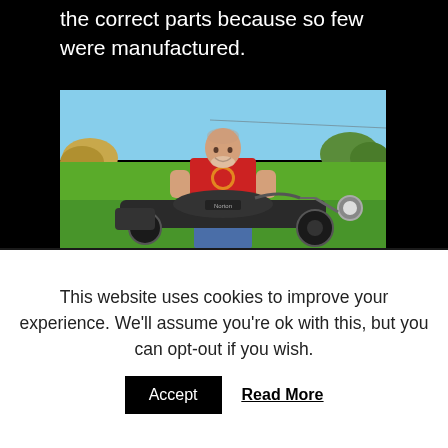the correct parts because so few were manufactured.
[Figure (photo): A middle-aged man in a red t-shirt with a graphic print, standing outdoors in a green field with trees and blue sky, leaning over a vintage black motorcycle (appears to be a Norton or similar classic British motorcycle). The photo is taken in autumn/summer conditions with warm daylight.]
This website uses cookies to improve your experience. We'll assume you're ok with this, but you can opt-out if you wish.
Accept   Read More